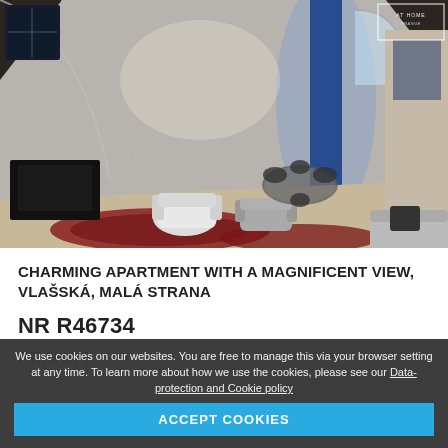[Figure (photo): Interior photo of a charming apartment with vaulted white ceiling, living and dining area with decorative rugs, armchairs, glass dining table, TV, and blue accent lighting.]
CHARMING APARTMENT WITH A MAGNIFICENT VIEW, VLAŠSKÁ, MALÁ STRANA
NR R46734
PRAHA 1
We use cookies on our websites. You are free to manage this via your browser setting at any time. To learn more about how we use the cookies, please see our Data-protection and Cookie policy
ACCEPT COOKIES